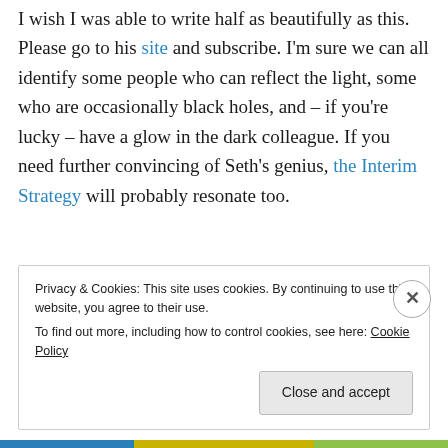I wish I was able to write half as beautifully as this. Please go to his site and subscribe. I'm sure we can all identify some people who can reflect the light, some who are occasionally black holes, and – if you're lucky – have a glow in the dark colleague. If you need further convincing of Seth's genius, the Interim Strategy will probably resonate too.
Privacy & Cookies: This site uses cookies. By continuing to use this website, you agree to their use. To find out more, including how to control cookies, see here: Cookie Policy